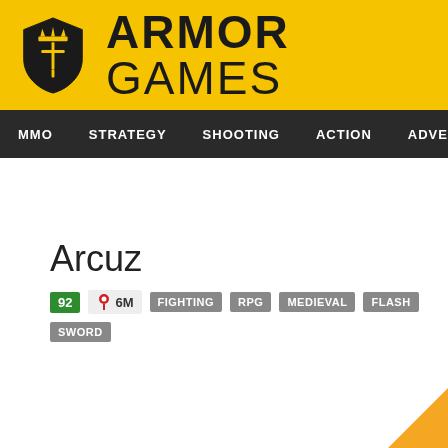[Figure (logo): Armor Games logo with shield icon and text 'ARMOR GAMES' on yellow background]
MMO  STRATEGY  SHOOTING  ACTION  ADVENTURE  P
Arcuz
92  6M  FIGHTING  RPG  MEDIEVAL  FLASH  SWORD